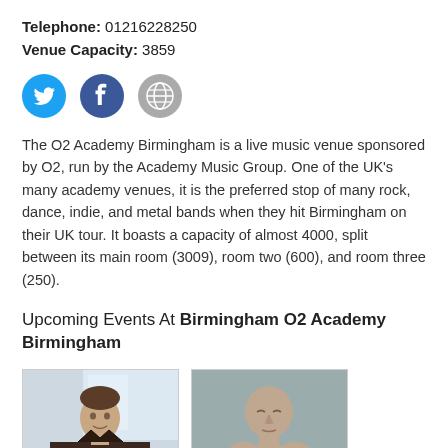Telephone: 01216228250
Venue Capacity: 3859
[Figure (other): Social media icons: Twitter (bird), Facebook (f), and globe/website icon]
The O2 Academy Birmingham is a live music venue sponsored by O2, run by the Academy Music Group. One of the UK's many academy venues, it is the preferred stop of many rock, dance, indie, and metal bands when they hit Birmingham on their UK tour. It boasts a capacity of almost 4000, split between its main room (3009), room two (600), and room three (250).
Upcoming Events At Birmingham O2 Academy Birmingham
[Figure (photo): Photo of a young man in a dark jacket, indoor setting with window in background]
[Figure (photo): Photo of a bald person resting their head in their hands, against a plain grey-green background]